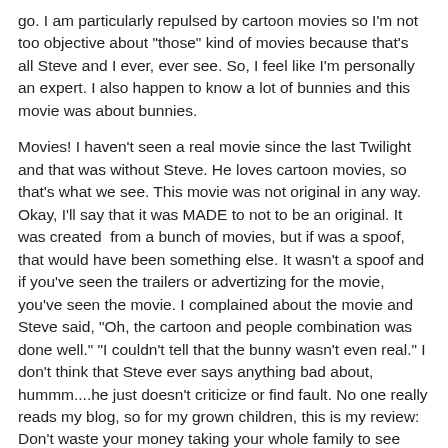go. I am particularly repulsed by cartoon movies so I'm not too objective about "those" kind of movies because that's all Steve and I ever, ever see. So, I feel like I'm personally an expert. I also happen to know a lot of bunnies and this movie was about bunnies.
Movies! I haven't seen a real movie since the last Twilight and that was without Steve. He loves cartoon movies, so that's what we see. This movie was not original in any way. Okay, I'll say that it was MADE to not to be an original. It was created  from a bunch of movies, but if was a spoof, that would have been something else. It wasn't a spoof and if you've seen the trailers or advertizing for the movie, you've seen the movie. I complained about the movie and Steve said, "Oh, the cartoon and people combination was done well." "I couldn't tell that the bunny wasn't even real." I don't think that Steve ever says anything bad about, hummm....he just doesn't criticize or find fault. No one really reads my blog, so for my grown children, this is my review: Don't waste your money taking your whole family to see this movie. It would be better to see it on your Netflix or whatever rental deal you all have going... and don't buy it. My Tressa would